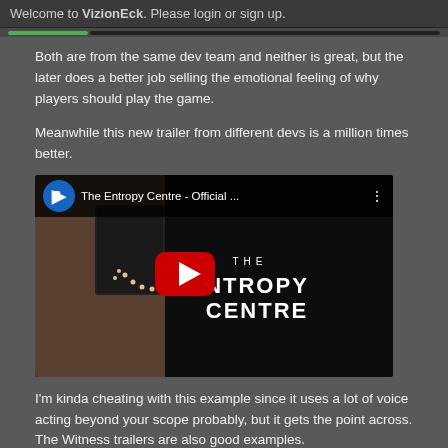Welcome to VizionEck. Please login or sign up.
Both are from the same dev team and neither is great, but the later does a better job selling the emotional feeling of why players should play the game.
Meanwhile this new trailer from different devs is a million times better.
[Figure (screenshot): YouTube video thumbnail for 'The Entropy Centre - Official ...' with PlayStation logo, play button, and stylized text showing 'THE NTROPY CENTRE' on a dark background with a robotic figure on the left side.]
I'm kinda cheating with this example since it uses a lot of voice acting beyond your scope probably, but it gets the point across. The Witness trailers are also good examples.